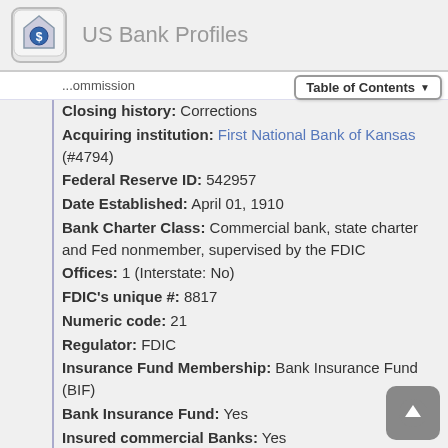US Bank Profiles
Closing history: Corrections
Acquiring institution: First National Bank of Kansas (#4794)
Federal Reserve ID: 542957
Date Established: April 01, 1910
Bank Charter Class: Commercial bank, state charter and Fed nonmember, supervised by the FDIC
Offices: 1 (Interstate: No)
FDIC's unique #: 8817
Numeric code: 21
Regulator: FDIC
Insurance Fund Membership: Bank Insurance Fund (BIF)
Bank Insurance Fund: Yes
Insured commercial Banks: Yes
FDIC Insured: Yes